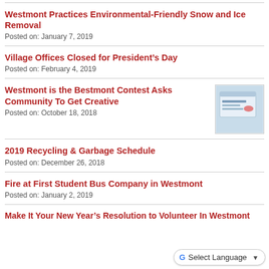Westmont Practices Environmental-Friendly Snow and Ice Removal
Posted on: January 7, 2019
Village Offices Closed for President's Day
Posted on: February 4, 2019
Westmont is the Bestmont Contest Asks Community To Get Creative
Posted on: October 18, 2018
2019 Recycling & Garbage Schedule
Posted on: December 26, 2018
Fire at First Student Bus Company in Westmont
Posted on: January 2, 2019
Make It Your New Year's Resolution to Volunteer In Westmont